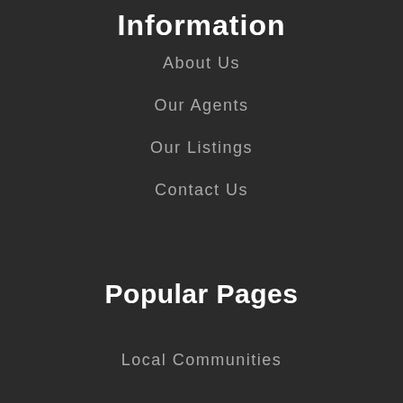Information
About Us
Our Agents
Our Listings
Contact Us
Popular Pages
Local Communities
Ask about Property
Video Tour
NEW